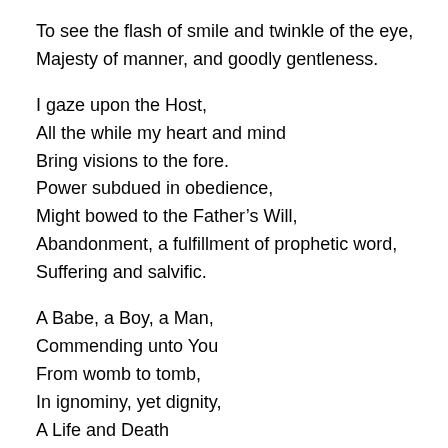To see the flash of smile and twinkle of the eye,
Majesty of manner, and goodly gentleness.

I gaze upon the Host,
All the while my heart and mind
Bring visions to the fore.
Power subdued in obedience,
Might bowed to the Father's Will,
Abandonment, a fulfillment of prophetic word,
Suffering and salvific.

A Babe, a Boy, a Man,
Commending unto You
From womb to tomb,
In ignominy, yet dignity,
A Life and Death
Swallowing up Your wrath.